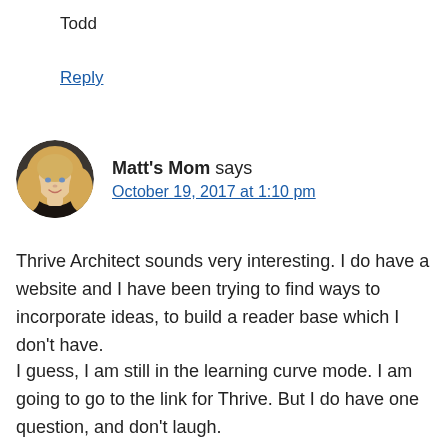Todd
Reply
Matt's Mom says
October 19, 2017 at 1:10 pm
Thrive Architect sounds very interesting. I do have a website and I have been trying to find ways to incorporate ideas, to build a reader base which I don't have.
I guess, I am still in the learning curve mode. I am going to go to the link for Thrive. But I do have one question, and don't laugh.